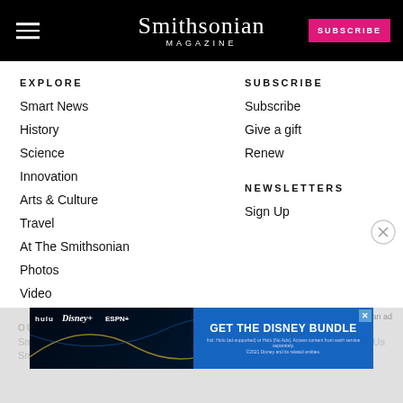Smithsonian Magazine — SUBSCRIBE
EXPLORE
Smart News
History
Science
Innovation
Arts & Culture
Travel
At The Smithsonian
Photos
Video
Games
SUBSCRIBE
Subscribe
Give a gift
Renew
NEWSLETTERS
Sign Up
[Figure (screenshot): Disney Bundle advertisement banner with Hulu, Disney+, and ESPN+ logos]
Report an ad
OUR P...
Smithsonian...
Smithsonian.com
Contact Us